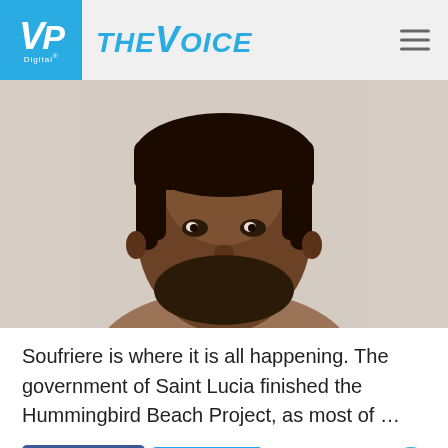VP Digital — THE VOICE
[Figure (photo): Close-up portrait photo of a man with dreadlocks and a beard, looking directly at camera, against a light background.]
Soufriere is where it is all happening. The government of Saint Lucia finished the Hummingbird Beach Project, as most of ...
Facebook  Twitter